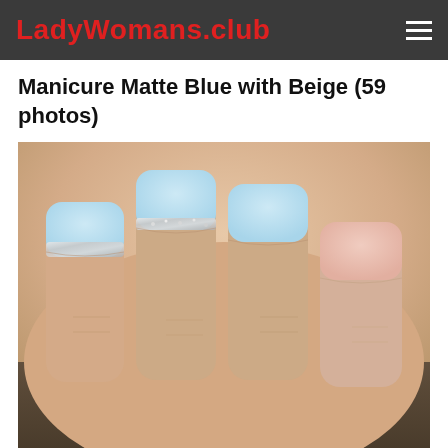LadyWomans.club
Manicure Matte Blue with Beige (59 photos)
[Figure (photo): Close-up photo of a hand showing manicured nails with matte light blue polish and glitter accent on some nails, and matte beige/pink polish on others]